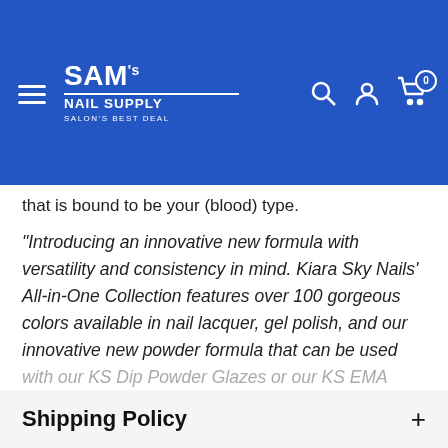SAM's NAIL SUPPLY - SALON'S BEST DEAL
that is bound to be your (blood) type.
"Introducing an innovative new formula with versatility and consistency in mind. Kiara Sky Nails' All-in-One Collection features over 100 gorgeous colors available in nail lacquer, gel polish, and our innovative new powder formula that can be used with our KS Dip Powder Glazes or our KS EMA Monomer! No matter your go-to application process, this highly pigmented and
+ View more
Shipping Policy +